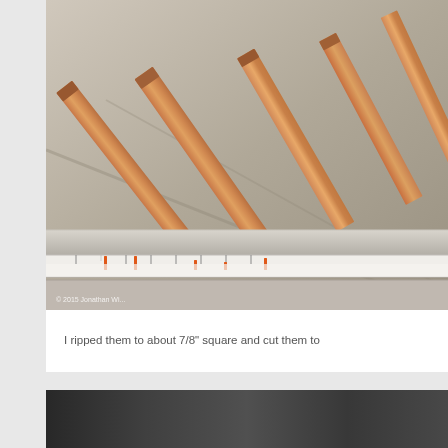[Figure (photo): Photograph of several wood pieces (approximately 7/8 inch square stock) on a table saw surface, with a fence rail and ruler strip visible in the foreground. Copyright watermark reads '© 2015 Jonathan Wi...' in lower left corner.]
I ripped them to about 7/8" square and cut them to
[Figure (photo): Partial view of a second photograph, showing a dark/grey background, bottom portion only visible.]